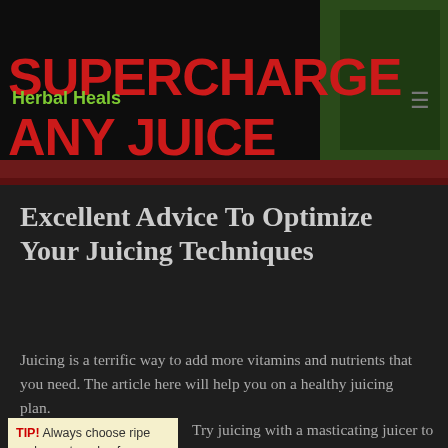[Figure (illustration): Website header banner with 'SUPERCHARGE ANY JUICE' text in large stylized red letters on dark background with green vegetable imagery]
Herbal Heals
Excellent Advice To Optimize Your Juicing Techniques
Juicing is a terrific way to add more vitamins and nutrients that you need. The article here will help you on a healthy juicing plan.
TIP! Always choose ripe and sweet apples for your juices. Make sure to get rid of the bruises if you
Try juicing with a masticating juicer to vary your juice. These juicers gently extract juice which helps retain many